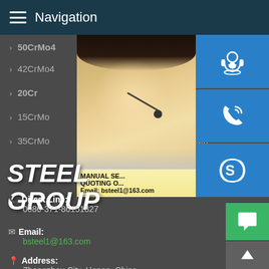Navigation
> 50CrMo4
> 51CrV
> 42CrMo4
> 12Cr1
> 20Cr
> 40Cr
> 15CrMo
> 30CrMo
> 35CrMo
> 42CrMo
[Figure (photo): Customer service representative smiling with headset, alongside blue contact icon buttons (headset, phone, Skype) and a text overlay with 'MANUAL SE... QUOTING O... Email: bsteel1@163.com']
STEEL GROUP
Direct Line: 0086-371-86151827
Email: bsteel1@163.com
Address: Zhengzhou City, Henan, China